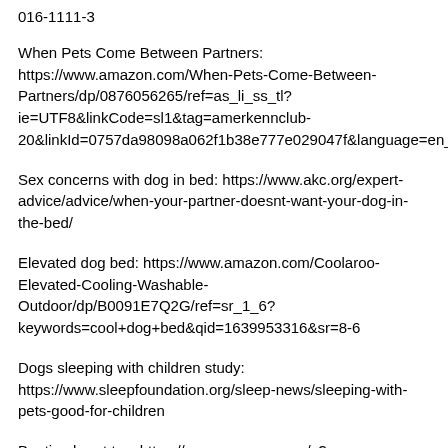016-1111-3
When Pets Come Between Partners: https://www.amazon.com/When-Pets-Come-Between-Partners/dp/0876056265/ref=as_li_ss_tl?ie=UTF8&linkCode=sl1&tag=amerkennclub-20&linkId=0757da98098a062f1b38e777e029047f&language=en_US
Sex concerns with dog in bed: https://www.akc.org/expert-advice/advice/when-your-partner-doesnt-want-your-dog-in-the-bed/
Elevated dog bed: https://www.amazon.com/Coolaroo-Elevated-Cooling-Washable-Outdoor/dp/B0091E7Q2G/ref=sr_1_6?keywords=cool+dog+bed&qid=1639953316&sr=8-6
Dogs sleeping with children study: https://www.sleepfoundation.org/sleep-news/sleeping-with-pets-good-for-children
Beating heart toy: https://www.amazon.com/s?